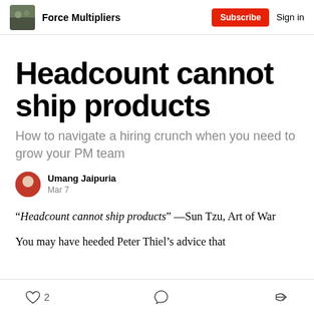Force Multipliers  Subscribe  Sign in
Headcount cannot ship products
How to navigate a hiring crunch when you need to grow your PM team
Umang Jaipuria
Mar 7
“Headcount cannot ship products” —Sun Tzu, Art of War
You may have heeded Peter Thiel’s advice that
2